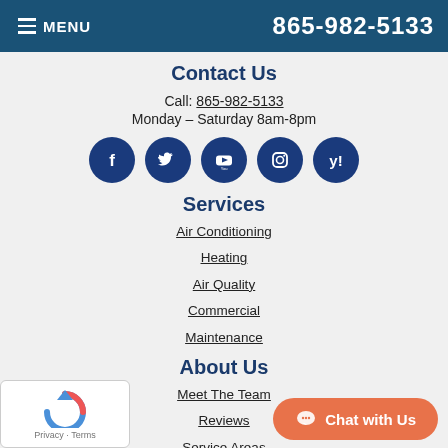MENU  865-982-5133
Contact Us
Call: 865-982-5133
Monday – Saturday 8am-8pm
[Figure (infographic): Row of 5 dark blue social media icons: Facebook, Twitter, YouTube, Instagram, Yelp]
Services
Air Conditioning
Heating
Air Quality
Commercial
Maintenance
About Us
Meet The Team
Reviews
Service Areas
[Figure (logo): reCAPTCHA widget with Privacy and Terms links]
[Figure (other): Orange Chat with Us button]